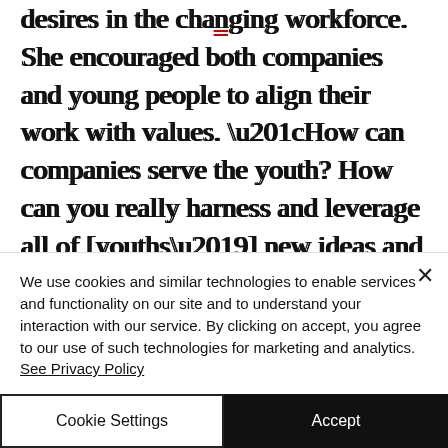desires in the changing workforce. She encouraged both companies and young people to align their work with values. “How can companies serve the youth? How can you really harness and leverage all of [youths’] new ideas and fresh thinking, [their] pre-jadedness of being in the work environment?” Savera asked. “If we really want to change the systems, we need to be able to understand
We use cookies and similar technologies to enable services and functionality on our site and to understand your interaction with our service. By clicking on accept, you agree to our use of such technologies for marketing and analytics. See Privacy Policy
Cookie Settings
Accept